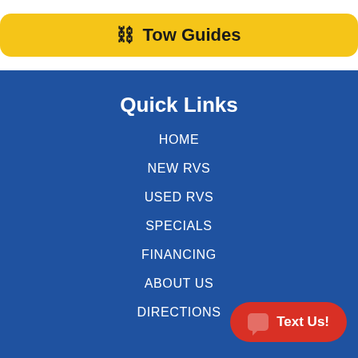Tow Guides
Quick Links
HOME
NEW RVS
USED RVS
SPECIALS
FINANCING
ABOUT US
DIRECTIONS
Text Us!